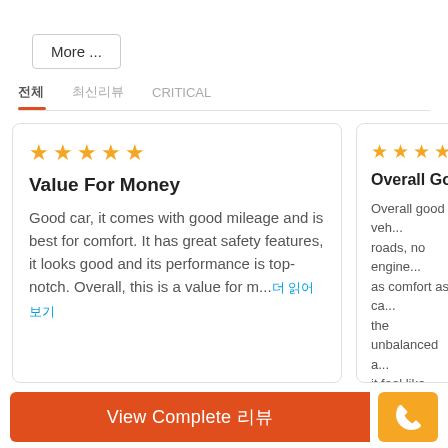More ...
전체  최신리뷰  CRITICAL
[Figure (screenshot): Review card with 5 stars: Value For Money. Text: Good car, it comes with good mileage and is best for comfort. It has great safety features, it looks good and its performance is top-notch. Overall, this is a value for m...더 읽어보기]
[Figure (screenshot): Partial review card with 3.5 stars: Overall Good V... Text: Overall good veh... roads, no engine... as comfort as ca... the unbalanced a... it feel like army tr...]
View Complete 리뷰